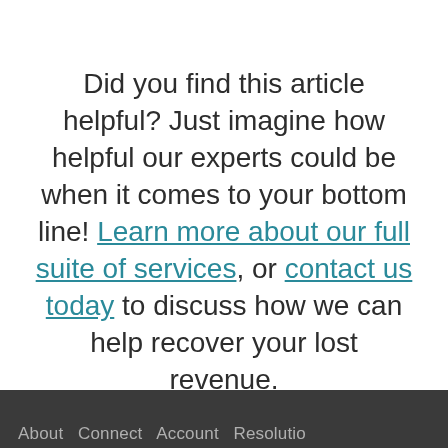Did you find this article helpful? Just imagine how helpful our experts could be when it comes to your bottom line! Learn more about our full suite of services, or contact us today to discuss how we can help recover your lost revenue.
About   Contact   Account   Resolutions